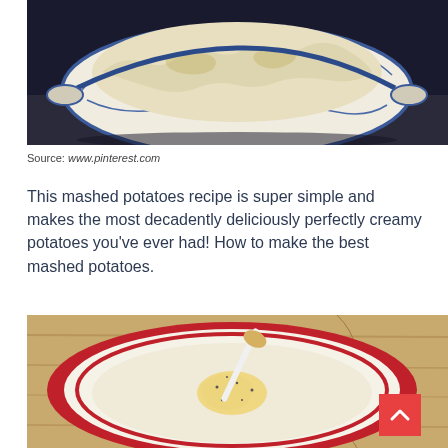[Figure (photo): Blue and white decorative ceramic bowl filled with creamy mashed potatoes, placed on a dark navy cloth background]
Source: www.pinterest.com
This mashed potatoes recipe is super simple and makes the most decadently deliciously perfectly creamy potatoes you've ever had! How to make the best mashed potatoes.
[Figure (photo): Top-down view of creamy mashed potatoes in a red and white plate with a spoon, butter pooled in center with black pepper, on a wooden surface]